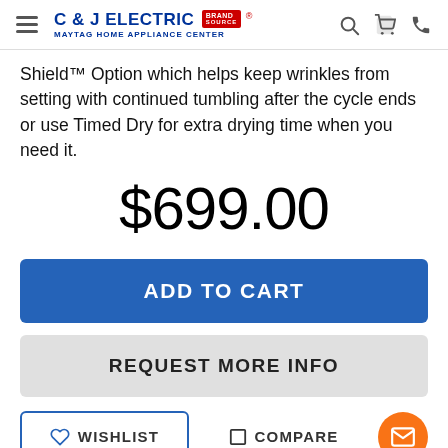C & J ELECTRIC MAYTAG HOME APPLIANCE CENTER (Brand Source logo)
Shield™ Option which helps keep wrinkles from setting with continued tumbling after the cycle ends or use Timed Dry for extra drying time when you need it.
$699.00
ADD TO CART
REQUEST MORE INFO
WISHLIST
COMPARE